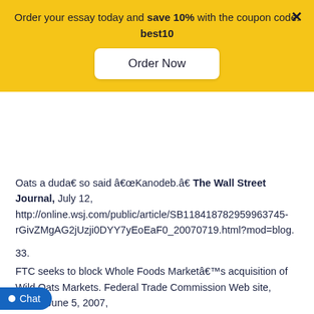Order your essay today and save 10% with the coupon code: best10
Order Now
Oats a duda€ so said â€œKanodeb.â€ The Wall Street Journal, July 12, http://online.wsj.com/public/article/SB118418782959963745-rGivZMgAG2jUzji0DYY7yEoEaF0_20070719.html?mod=blog.
33.
FTC seeks to block Whole Foods Marketâ€™s acquisition of Wild Oats Markets. Federal Trade Commission Web site, News, June 5, 2007, http://www.ftc.gov/opa/2007/06/wholefoods.shtm.
34.
Mackey, J. (2008). The CEOâ€™s blog, back to blogging. Whole Foods Market Web site, May 21. Accessed September 25, 2009, http://www2.wholefoodsmarket.com/blogs/jmackey/2008/05/21